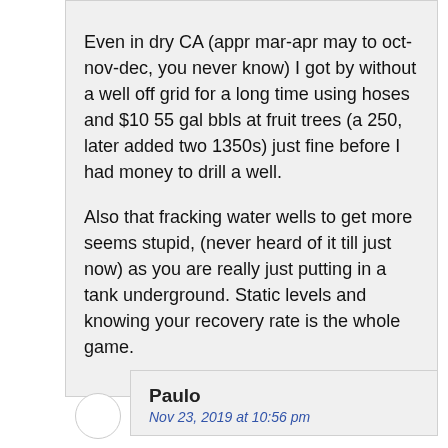Even in dry CA (appr mar-apr may to oct-nov-dec, you never know) I got by without a well off grid for a long time using hoses and $10 55 gal bbls at fruit trees (a 250, later added two 1350s) just fine before I had money to drill a well.
Also that fracking water wells to get more seems stupid, (never heard of it till just now) as you are really just putting in a tank underground. Static levels and knowing your recovery rate is the whole game.
Paulo
Nov 23, 2019 at 10:56 pm